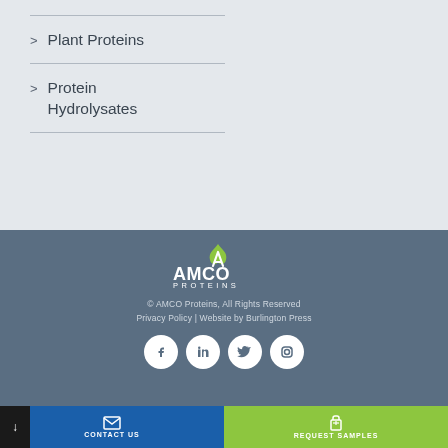> Plant Proteins
> Protein Hydrolysates
[Figure (logo): AMCO Proteins logo with green flame/leaf mark above white text AMCO PROTEINS]
© AMCO Proteins,  All Rights Reserved
Privacy Policy  |  Website by Burlington Press
[Figure (other): Social media icons: Facebook, LinkedIn, Twitter, Instagram — white icons in white circles]
CONTACT US  |  REQUEST SAMPLES